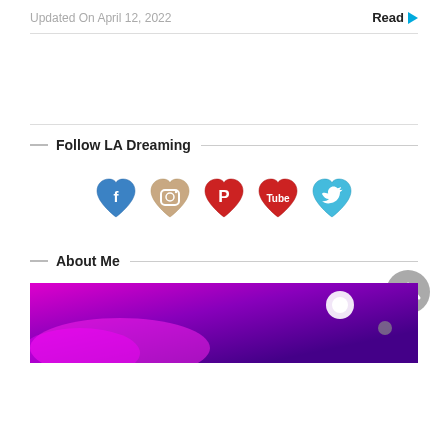Updated On April 12, 2022   Read
Follow LA Dreaming
[Figure (illustration): Five heart-shaped social media icons: Facebook (blue), Instagram (beige/camera), Pinterest (red), YouTube (red with Tube text), Twitter (light blue)]
About Me
[Figure (photo): Dark purple/magenta concert or event photo with colorful lights, including a bright white spotlight on the right side]